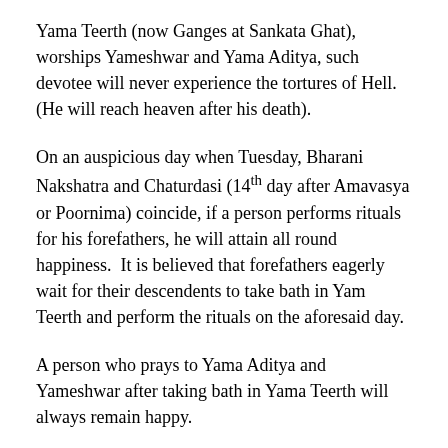Yama Teerth (now Ganges at Sankata Ghat), worships Yameshwar and Yama Aditya, such devotee will never experience the tortures of Hell. (He will reach heaven after his death).
On an auspicious day when Tuesday, Bharani Nakshatra and Chaturdasi (14th day after Amavasya or Poornima) coincide, if a person performs rituals for his forefathers, he will attain all round happiness. It is believed that forefathers eagerly wait for their descendents to take bath in Yam Teerth and perform the rituals on the aforesaid day.
A person who prays to Yama Aditya and Yameshwar after taking bath in Yama Teerth will always remain happy.